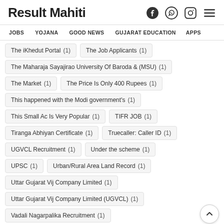Result Mahiti
The iKhedut Portal (1)
The Job Applicants (1)
The Maharaja Sayajirao University Of Baroda & (MSU) (1)
The Market (1)
The Price Is Only 400 Rupees (1)
This happened with the Modi government's (1)
This Small Ac Is Very Popular (1)
TIFR JOB (1)
Tiranga Abhiyan Certificate (1)
Truecaller: Caller ID (1)
UGVCL Recruitment (1)
Under the scheme (1)
UPSC (1)
Urban/Rural Area Land Record (1)
Uttar Gujarat Vij Company Limited (1)
Uttar Gujarat Vij Company Limited (UGVCL) (1)
Vadali Nagarpalika Recruitment (1)